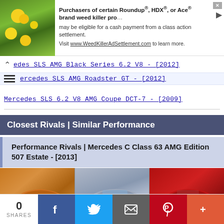[Figure (other): Advertisement banner: Purchasers of certain Roundup®, HDX®, or Ace® brand weed killer products may be eligible for a cash payment from a class action settlement. Visit www.WeedKillerAdSettlement.com to learn more.]
edes SLS AMG Black Series 6.2 V8 - [2012]
ercedes SLS AMG Roadster GT - [2012]
Mercedes SLS 6.2 V8 AMG Coupe DCT-7 - [2009]
Closest Rivals | Similar Performance
Performance Rivals | Mercedes C Class 63 AMG Edition 507 Estate - [2013]
[Figure (photo): Three car images side by side: orange sports car, silver Audi sedan, red Ferrari sports car]
0 SHARES | Facebook | Twitter | Email | Pinterest | More